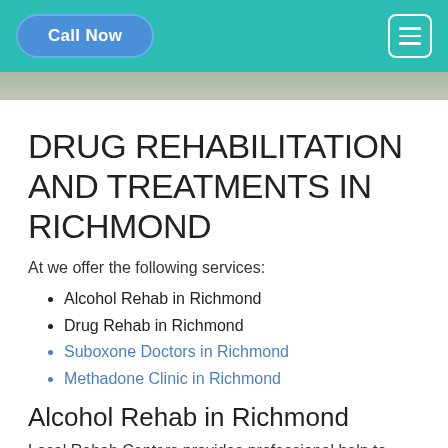Call Now
[Figure (photo): Partial photo strip visible at top of page content area]
DRUG REHABILITATION AND TREATMENTS IN RICHMOND
At we offer the following services:
Alcohol Rehab in Richmond
Drug Rehab in Richmond
Suboxone Doctors in Richmond
Methadone Clinic in Richmond
Alcohol Rehab in Richmond
Local Rehab Centers provides professional help to Alcohol addicts to combat alcohol addiction. Alcohol Rehabilitation offers